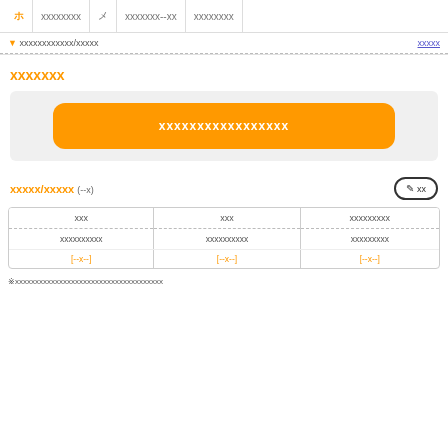ホ | xxxxxxxx | メ | xxxxxxx--xx | xxxxxxxx
▼ xxxxxxxxxxxx/xxxxx | xxxxx
xxxxxxx
[Figure (screenshot): Large orange rounded button labeled xxxxxxxxxxxxxxxxx on a light gray background panel]
xxxxx/xxxxx (--x)
| xxx | xxx | xxxxxxxxx |
| --- | --- | --- |
| xxxxxxxxxx
[--x--] | xxxxxxxxxx
[--x--] | xxxxxxxxx
[--x--] |
※xxxxxxxxxxxxxxxxxxxxxxxxxxxxxxxxxxxxx